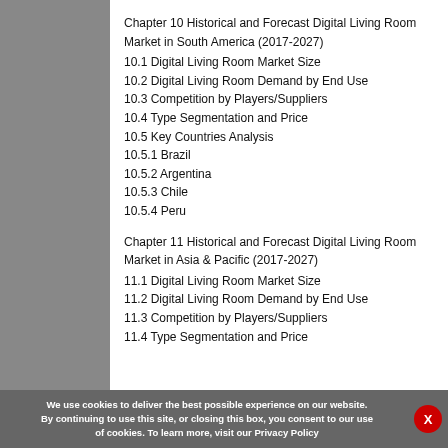Chapter 10 Historical and Forecast Digital Living Room Market in South America (2017-2027)
10.1 Digital Living Room Market Size
10.2 Digital Living Room Demand by End Use
10.3 Competition by Players/Suppliers
10.4 Type Segmentation and Price
10.5 Key Countries Analysis
10.5.1 Brazil
10.5.2 Argentina
10.5.3 Chile
10.5.4 Peru
Chapter 11 Historical and Forecast Digital Living Room Market in Asia & Pacific (2017-2027)
11.1 Digital Living Room Market Size
11.2 Digital Living Room Demand by End Use
11.3 Competition by Players/Suppliers
11.4 Type Segmentation and Price
We use cookies to deliver the best possible experience on our website. By continuing to use this site, or closing this box, you consent to our use of cookies. To learn more, visit our Privacy Policy